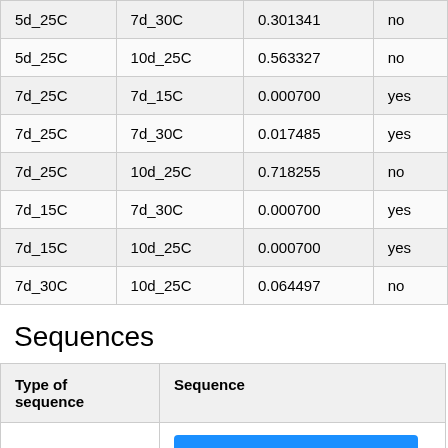| 5d_25C | 7d_30C | 0.301341 | no |
| 5d_25C | 10d_25C | 0.563327 | no |
| 7d_25C | 7d_15C | 0.000700 | yes |
| 7d_25C | 7d_30C | 0.017485 | yes |
| 7d_25C | 10d_25C | 0.718255 | no |
| 7d_15C | 7d_30C | 0.000700 | yes |
| 7d_15C | 10d_25C | 0.000700 | yes |
| 7d_30C | 10d_25C | 0.064497 | no |
Sequences
| Type of sequence | Sequence |
| --- | --- |
| Locus | Download genbank file of locus |